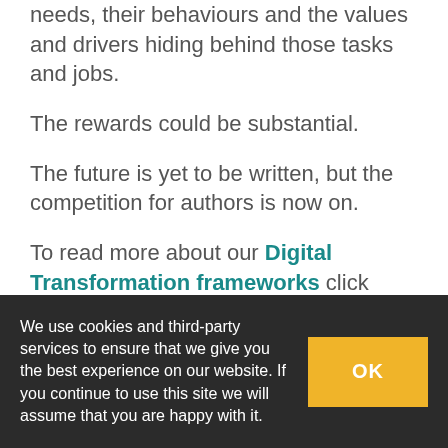needs, their behaviours and the values and drivers hiding behind those tasks and jobs.
The rewards could be substantial.
The future is yet to be written, but the competition for authors is now on.
To read more about our Digital Transformation frameworks click here.
We use cookies and third-party services to ensure that we give you the best experience on our website. If you continue to use this site we will assume that you are happy with it.